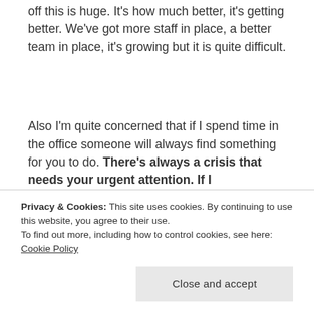off this is huge. It's how much better, it's getting better. We've got more staff in place, a better team in place, it's growing but it is quite difficult.
Also I'm quite concerned that if I spend time in the office someone will always find something for you to do. There's always a crisis that needs your urgent attention. If I
Privacy & Cookies: This site uses cookies. By continuing to use this website, you agree to their use.
To find out more, including how to control cookies, see here: Cookie Policy